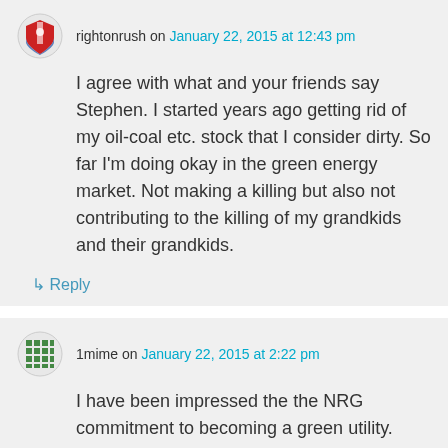rightonrush on January 22, 2015 at 12:43 pm
I agree with what and your friends say Stephen. I started years ago getting rid of my oil-coal etc. stock that I consider dirty. So far I'm doing okay in the green energy market. Not making a killing but also not contributing to the killing of my grandkids and their grandkids.
↳ Reply
1mime on January 22, 2015 at 2:22 pm
I have been impressed the the NRG commitment to becoming a green utility.